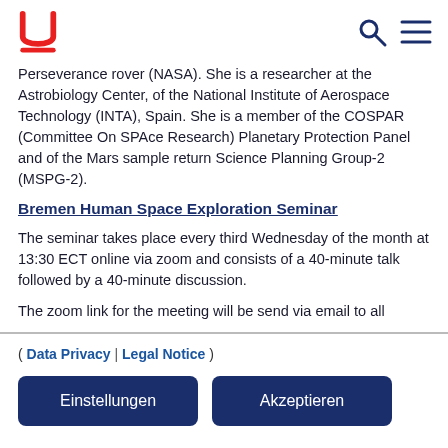U logo, search icon, menu icon
Perseverance rover (NASA). She is a researcher at the Astrobiology Center, of the National Institute of Aerospace Technology (INTA), Spain. She is a member of the COSPAR (Committee On SPAce Research) Planetary Protection Panel and of the Mars sample return Science Planning Group-2 (MSPG-2).
Bremen Human Space Exploration Seminar
The seminar takes place every third Wednesday of the month at 13:30 ECT online via zoom and consists of a 40-minute talk followed by a 40-minute discussion.
The zoom link for the meeting will be send via email to all
( Data Privacy | Legal Notice )
Einstellungen   Akzeptieren